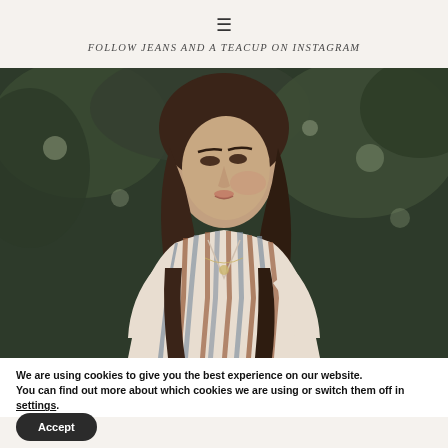≡
FOLLOW JEANS AND A TEACUP ON INSTAGRAM
[Figure (photo): Woman with long brown hair wearing a striped blouse, looking to the side, outdoors with green foliage background]
We are using cookies to give you the best experience on our website.
You can find out more about which cookies we are using or switch them off in settings.
Accept